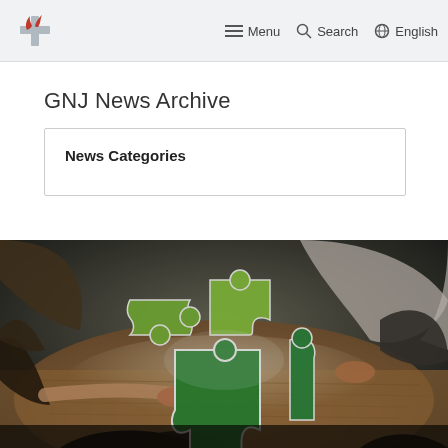Menu  Search  English
GNJ News Archive
News Categories
[Figure (photo): People assembling large green puzzle pieces on a wooden table, viewed from above]